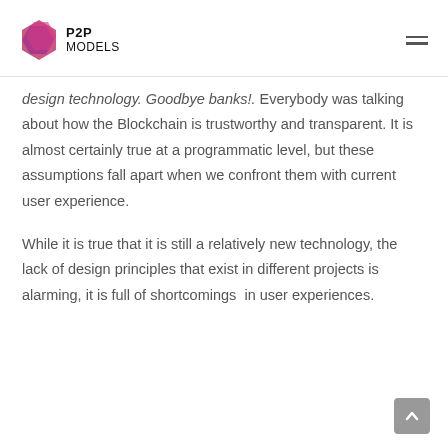P2P MODELS
design technology. Goodbye banks!. Everybody was talking about how the Blockchain is trustworthy and transparent. It is almost certainly true at a programmatic level, but these assumptions fall apart when we confront them with current user experience.
While it is true that it is still a relatively new technology, the lack of design principles that exist in different projects is alarming, it is full of shortcomings in user experiences.